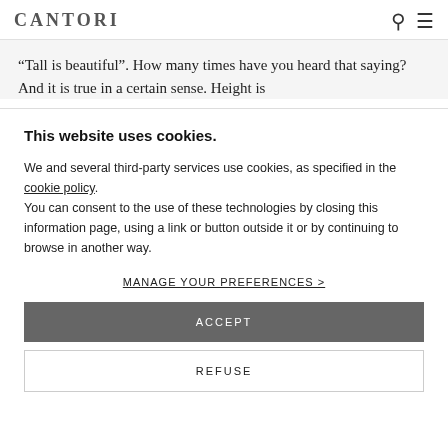CANTORI
“Tall is beautiful”. How many times have you heard that saying? And it is true in a certain sense. Height is
This website uses cookies.
We and several third-party services use cookies, as specified in the cookie policy.
You can consent to the use of these technologies by closing this information page, using a link or button outside it or by continuing to browse in another way.
MANAGE YOUR PREFERENCES >
ACCEPT
REFUSE